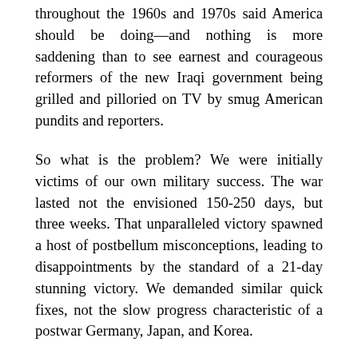throughout the 1960s and 1970s said America should be doing—and nothing is more saddening than to see earnest and courageous reformers of the new Iraqi government being grilled and pilloried on TV by smug American pundits and reporters.
So what is the problem? We were initially victims of our own military success. The war lasted not the envisioned 150-250 days, but three weeks. That unparalleled victory spawned a host of postbellum misconceptions, leading to disappointments by the standard of a 21-day stunning victory. We demanded similar quick fixes, not the slow progress characteristic of a postwar Germany, Japan, and Korea.
Assuming that the enemy was defeated, terrified, and humiliated, rather than merely temporarily discredited, we let down our guard. At least five errors followed from ignoring the old laws of war that one must first defeat, before reforming, an